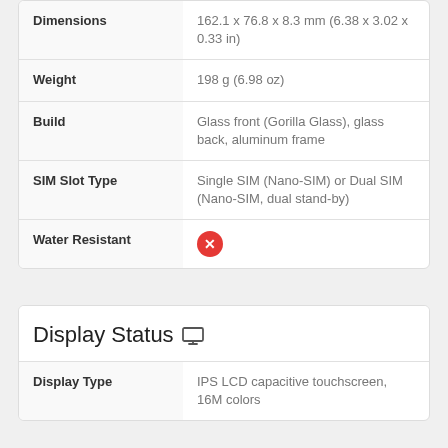| Attribute | Value |
| --- | --- |
| Dimensions | 162.1 x 76.8 x 8.3 mm (6.38 x 3.02 x 0.33 in) |
| Weight | 198 g (6.98 oz) |
| Build | Glass front (Gorilla Glass), glass back, aluminum frame |
| SIM Slot Type | Single SIM (Nano-SIM) or Dual SIM (Nano-SIM, dual stand-by) |
| Water Resistant | [X icon - No] |
| Attribute | Value |
| --- | --- |
| Display Type | IPS LCD capacitive touchscreen, 16M colors |